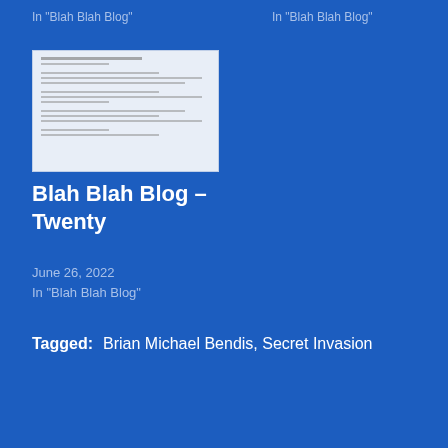In "Blah Blah Blog"
In "Blah Blah Blog"
[Figure (photo): Thumbnail image of a scanned document with typewritten text and tabular data on a light blue/white background]
Blah Blah Blog – Twenty
June 26, 2022
In "Blah Blah Blog"
Tagged:   Brian Michael Bendis,  Secret Invasion